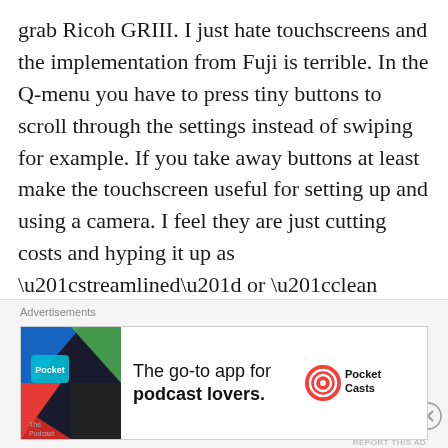grab Ricoh GRIII. I just hate touchscreens and the implementation from Fuji is terrible. In the Q-menu you have to press tiny buttons to scroll through the settings instead of swiping for example. If you take away buttons at least make the touchscreen useful for setting up and using a camera. I feel they are just cutting costs and hyping it up as “streamlined” or “clean design”. I also saw Chris Niccols complain about the cramped viewfinder.
Using all the dials on the X-T3 combined with
Advertisements
[Figure (infographic): Advertisement banner for Pocket Casts app: colorful geometric logo on left, text 'The go-to app for podcast lovers.' in center, Pocket Casts logo on right]